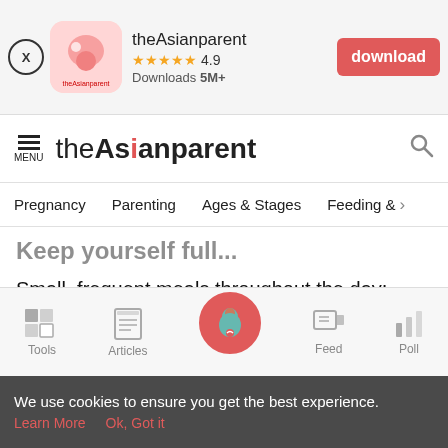[Figure (screenshot): App download banner for theAsianparent app showing close button, app icon, name, 4.9 star rating, 5M+ downloads, and red download button]
theAsianparent — Menu | Search
Pregnancy  Parenting  Ages & Stages  Feeding & >
Keep yourself full...
Small, frequent meals throughout the day; they're easier to keep down and will keep you from feeling hungry.
Keep some crackers by your bed in case you get hungry in
Tools  Articles  [home]  Feed  Poll
We use cookies to ensure you get the best experience.
Learn More   Ok, Got it